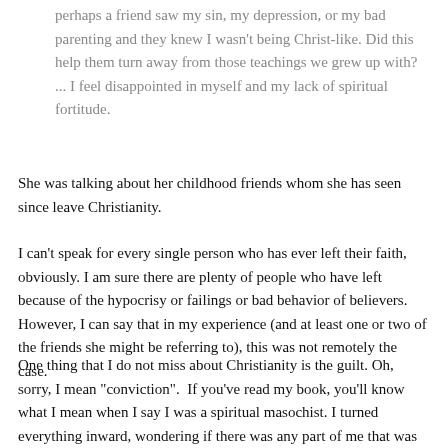perhaps a friend saw my sin, my depression, or my bad parenting and they knew I wasn't being Christ-like. Did this help them turn away from those teachings we grew up with? ... I feel disappointed in myself and my lack of spiritual fortitude.
She was talking about her childhood friends whom she has seen since leave Christianity.
I can't speak for every single person who has ever left their faith, obviously. I am sure there are plenty of people who have left because of the hypocrisy or failings or bad behavior of believers. However, I can say that in my experience (and at least one or two of the friends she might be referring to), this was not remotely the case.
One thing that I do not miss about Christianity is the guilt. Oh, sorry, I mean "conviction".  If you've read my book, you'll know what I mean when I say I was a spiritual masochist. I turned everything inward, wondering if there was any part of me that was to blame for any undesirable situation. I believed this was cleansing me, making me more like Christ. I could not